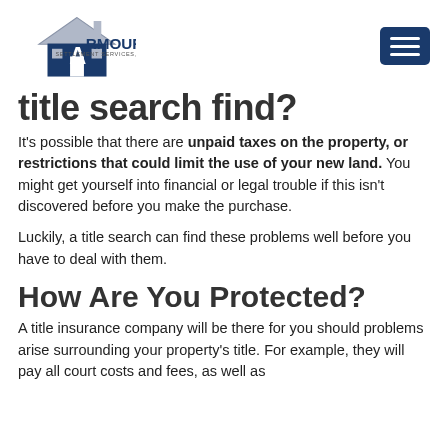Armour Settlement Services, LLC
title search find?
It's possible that there are unpaid taxes on the property, or restrictions that could limit the use of your new land. You might get yourself into financial or legal trouble if this isn't discovered before you make the purchase.
Luckily, a title search can find these problems well before you have to deal with them.
How Are You Protected?
A title insurance company will be there for you should problems arise surrounding your property's title. For example, they will pay all court costs and fees, as well as